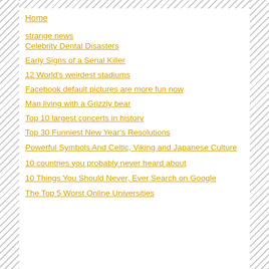Home
strange news
Celebrity Dental Disasters
Early Signs of a Serial Killer
12 World's weirdest stadiums
Facebook default pictures are more fun now
Man living with a Grizzly bear
Top 10 largest concerts in history
Top 30 Funniest New Year's Resolutions
Powerful Symbols And Celtic, Viking and Japanese Culture
10 countries you probably never heard about
10 Things You Should Never, Ever Search on Google
The Top 5 Worst Online Universities